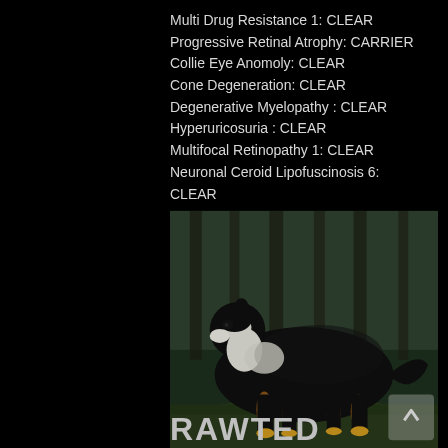Multi Drug Resistance 1: CLEAR
Progressive Retinal Atrophy: CARRIER
Collie Eye Anomoly: CLEAR
Cone Degeneration: CLEAR
Degenerative Myelopathy : CLEAR
Hyperuricosuria : CLEAR
Multifocal Retinopathy 1: CLEAR
Neuronal Ceroid Lipofuscinosis 6: CLEAR
[Figure (photo): A tri-color (black, white, and tan) Australian Shepherd dog standing in profile in a forest setting, facing left, with trees in the background and mossy ground beneath its feet.]
RAWTED